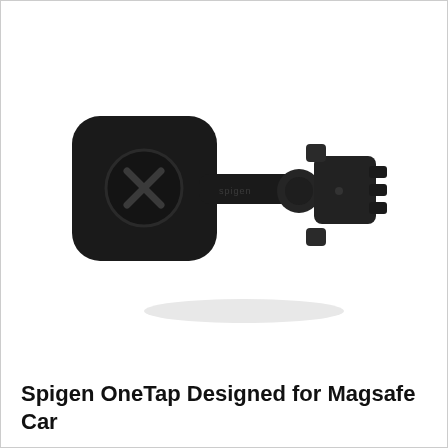[Figure (photo): Spigen OneTap MagSafe car mount product photo. A black magnetic car air vent mount with a square-shaped magnetic plate on the left connected via an arm to a vent clip mechanism on the right. The Spigen logo is visible on the arm.]
Spigen OneTap Designed for Magsafe Car